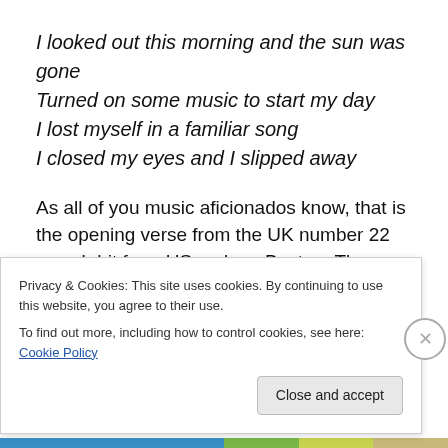I looked out this morning and the sun was gone
Turned on some music to start my day
I lost myself in a familiar song
I closed my eyes and I slipped away
As all of you music aficionados know, that is the opening verse from the UK number 22 smash hit from US rockers Boston. The music summed up my start to the day perfectly as I peered out of the window of Northern HQ. Drizzle had taken hold of the day, the same drizzle that had descended on Worksop last night and would hang
Privacy & Cookies: This site uses cookies. By continuing to use this website, you agree to their use.
To find out more, including how to control cookies, see here: Cookie Policy
Close and accept